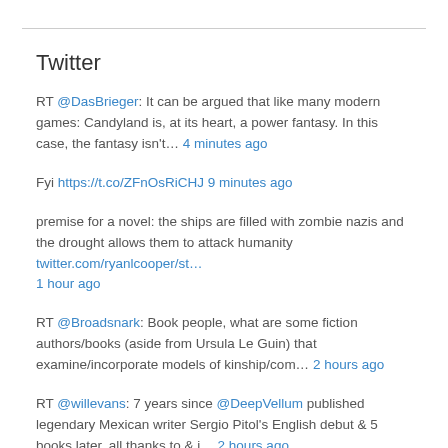Twitter
RT @DasBrieger: It can be argued that like many modern games: Candyland is, at its heart, a power fantasy. In this case, the fantasy isn't… 4 minutes ago
Fyi https://t.co/ZFnOsRiCHJ 9 minutes ago
premise for a novel: the ships are filled with zombie nazis and the drought allows them to attack humanity twitter.com/ryanlcooper/st… 1 hour ago
RT @Broadsnark: Book people, what are some fiction authors/books (aside from Ursula Le Guin) that examine/incorporate models of kinship/com… 2 hours ago
RT @willevans: 7 years since @DeepVellum published legendary Mexican writer Sergio Pitol's English debut & 5 books later, all thanks to & i… 2 hours ago